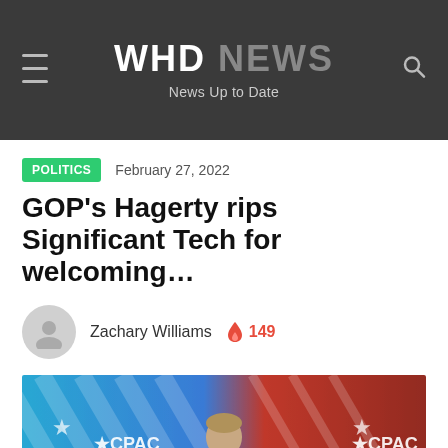WHD NEWS — News Up to Date
POLITICS   February 27, 2022
GOP's Hagerty rips Significant Tech for welcoming...
Zachary Williams  🔥 149
[Figure (photo): Man speaking at CPAC event with blue/red patriotic backdrop with stars and CPAC logos]